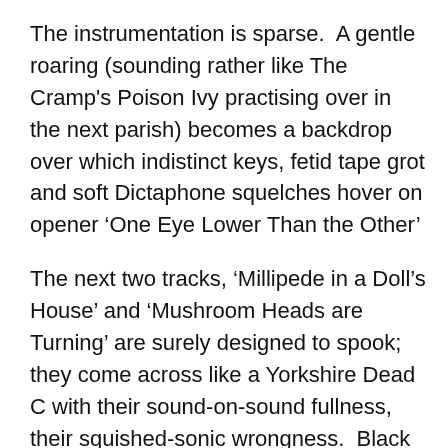The instrumentation is sparse.  A gentle roaring (sounding rather like The Cramp's Poison Ivy practising over in the next parish) becomes a backdrop over which indistinct keys, fetid tape grot and soft Dictaphone squelches hover on opener ‘One Eye Lower Than the Other’
The next two tracks, ‘Millipede in a Doll’s House’ and ‘Mushroom Heads are Turning’ are surely designed to spook; they come across like a Yorkshire Dead C with their sound-on-sound fullness, their squished-sonic wrongness.  Black reverb ripples across backmasked guitar and throb in a fair approximation of a tape player actually throwing up; brown ribbons spiralling out, collecting in sticky ferric pools. It all ends in a grim repetition which baffles against broken ancient machinery. A woven howl (now sounding like a 16th generation tape of